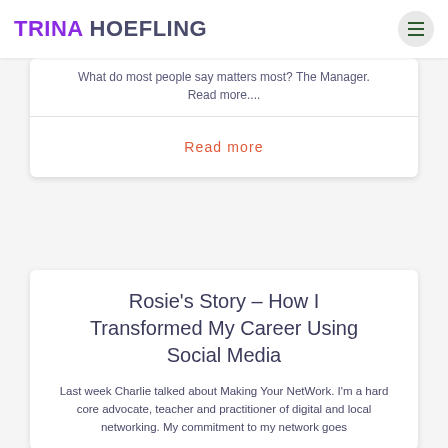TRINA HOEFLING
What do most people say matters most?  The Manager.
Read more....
Read more
Rosie's Story – How I Transformed My Career Using Social Media
Last week Charlie talked about Making Your NetWork. I'm a hard core advocate, teacher and practitioner of digital and local networking. My commitment to my network goes